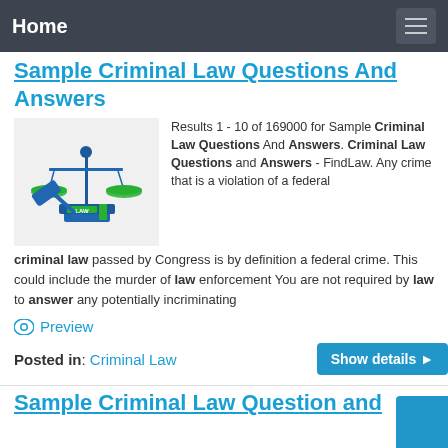Home
Sample Criminal Law Questions And Answers
Results 1 - 10 of 169000 for Sample Criminal Law Questions And Answers. Criminal Law Questions and Answers - FindLaw. Any crime that is a violation of a federal criminal law passed by Congress is by definition a federal crime. This could include the murder of law enforcement You are not required by law to answer any potentially incriminating
[Figure (illustration): Illustration of legal scales of justice and a gavel with law books, blue and green colors on a light grey background]
👁 Preview
Posted in: Criminal Law   Show details ▶
Sample Criminal Law Question and